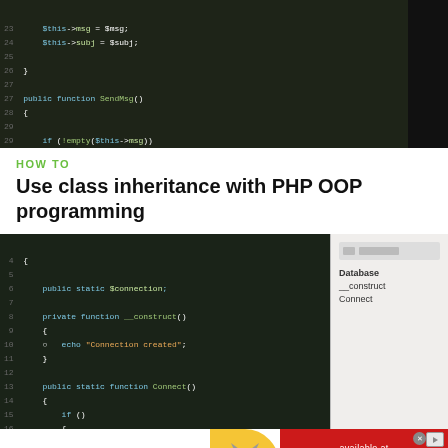[Figure (screenshot): Code editor screenshot showing PHP class methods including SendMsg() with if(empty) check and return statement with $this->site_name]
HOW TO
Use class inheritance with PHP OOP programming
[Figure (screenshot): Code editor screenshot showing PHP class with public static $connection, private function __construct() with echo 'Connection created', and public static function Connect() with if() block and new Database; alongside a sidebar showing Database, __construct, Connect]
[Figure (other): Advertisement banner: Treat your cat the best with Delectables cat treats, available at amazon]